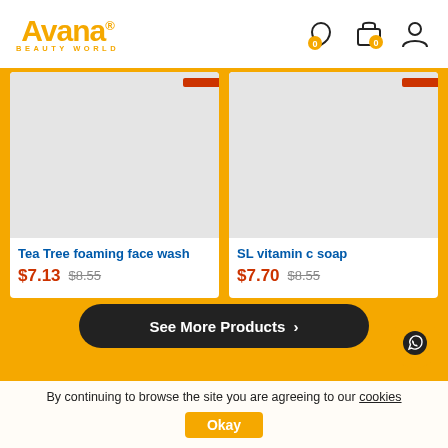[Figure (logo): Avana Beauty World logo in gold/yellow color with registered trademark symbol]
[Figure (infographic): E-commerce header icons: wishlist heart with 0 badge, shopping bag with 0 badge, user account icon]
[Figure (photo): Product image placeholder (light grey background) for Tea Tree foaming face wash]
Tea Tree foaming face wash
$7.13  $8.55
[Figure (photo): Product image placeholder (light grey background) for SL vitamin c soap]
SL vitamin c soap
$7.70  $8.55
See More Products >
By continuing to browse the site you are agreeing to our cookies
Okay